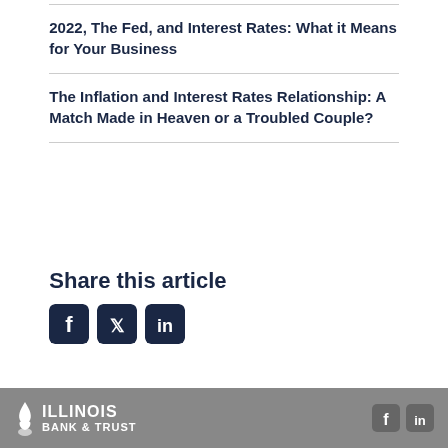2022, The Fed, and Interest Rates: What it Means for Your Business
The Inflation and Interest Rates Relationship: A Match Made in Heaven or a Troubled Couple?
Share this article
[Figure (illustration): Social media share icons: Facebook, Twitter, LinkedIn]
Illinois Bank & Trust — footer with Facebook and LinkedIn icons